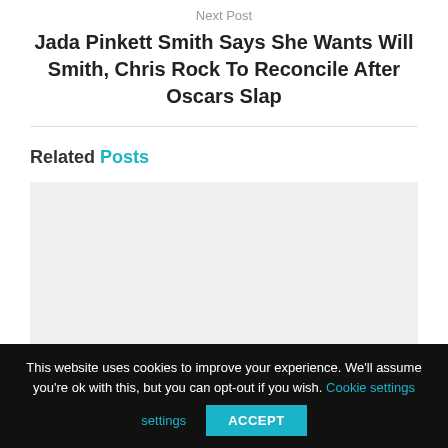Next Post
Jada Pinkett Smith Says She Wants Will Smith, Chris Rock To Reconcile After Oscars Slap
Related Posts
[Figure (photo): Light gray placeholder image box for a related post thumbnail]
This website uses cookies to improve your experience. We'll assume you're ok with this, but you can opt-out if you wish. Cookie settings ACCEPT